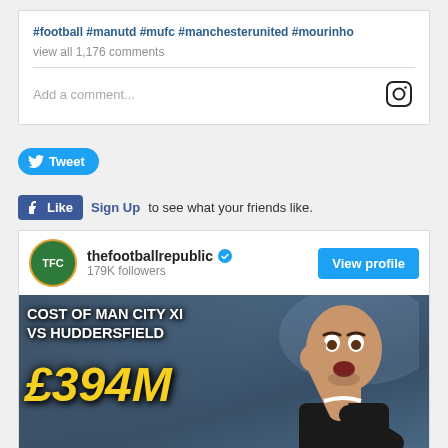#football #manutd #mufc #manchesterunited #mourinho
view all 1,176 comments
Add a comment...
Tweet
Like   Sign Up to see what your friends like.
thefootballrepublic  179K followers
View profile
[Figure (infographic): Infographic image showing a football manager with text 'COST OF MAN CITY XI VS HUDDERSFIELD £394M' overlaid on a blurred crowd background]